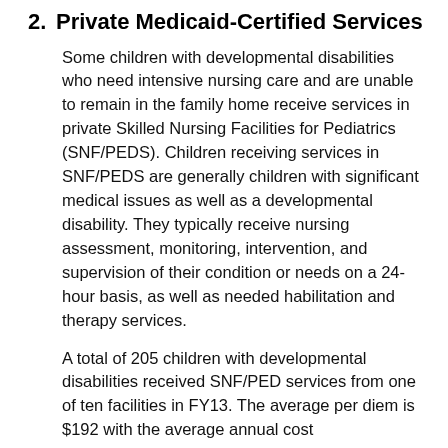2. Private Medicaid-Certified Services
Some children with developmental disabilities who need intensive nursing care and are unable to remain in the family home receive services in private Skilled Nursing Facilities for Pediatrics (SNF/PEDS). Children receiving services in SNF/PEDS are generally children with significant medical issues as well as a developmental disability. They typically receive nursing assessment, monitoring, intervention, and supervision of their condition or needs on a 24-hour basis, as well as needed habilitation and therapy services.
A total of 205 children with developmental disabilities received SNF/PED services from one of ten facilities in FY13. The average per diem is $192 with the average annual cost